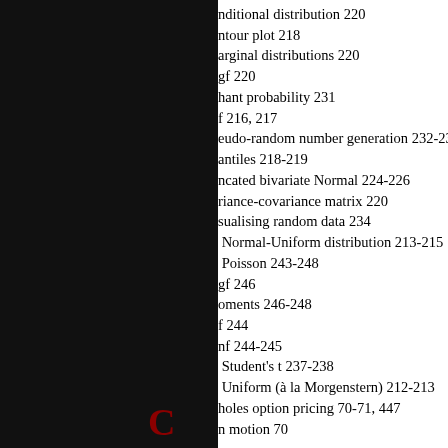nditional distribution 220
ntour plot 218
arginal distributions 220
gf 220
hant probability 231
f 216, 217
eudo-random number generation 232-234
antiles 218-219
ncated bivariate Normal 224-226
riance-covariance matrix 220
sualising random data 234
Normal-Uniform distribution 213-215
Poisson 243-248
gf 246
oments 246-248
f 244
nf 244-245
Student's t 237-238
Uniform (à la Morgenstern) 212-213
holes option pricing 70-71, 447
n motion 70